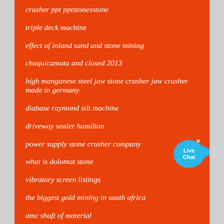crusher ppt pptstonesstone
triple deck machine
effect of inland sand and stone mining
chuquicamata and closed 2013
high manganese steel jaw stone crusher jaw crusher made in germany
diabase raymond silt machine
driveway sealer hamilton
power supply stone crusher company
what is dolomat stone
vibratory screen listings
the biggest gold mining in south africa
amc shaft of material